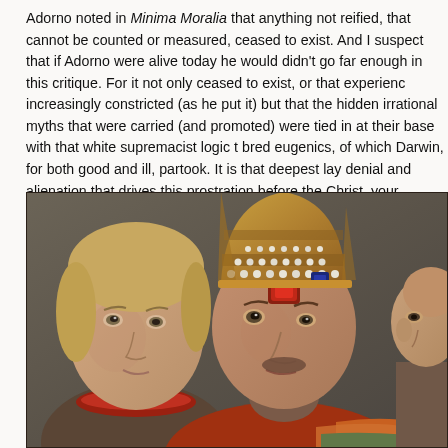Adorno noted in Minima Moralia that anything not reified, that cannot be counted or measured, ceased to exist. And I suspect that if Adorno were alive today he would didn't go far enough in this critique. For it not only ceased to exist, or that experience increasingly constricted (as he put it) but that the hidden irrational myths that were carried (and promoted) were tied in at their base with that white supremacist logic that bred eugenics, of which Darwin, for both good and ill, partook. It is that deepest layer of denial and alienation that drives this prostration before the Christ, your immediate supervisor.
[Figure (photo): Close-up detail of a Renaissance oil painting showing three figures: on the left, a young person with light hair wearing a red-collared garment; in the center, a bearded man wearing an ornate bishop's mitre (tall decorated headpiece with pearls, gold, and gemstones) and looking toward the viewer; on the right edge, a partially visible older bald figure. The painting has the warm, detailed style of Italian Renaissance portraiture.]